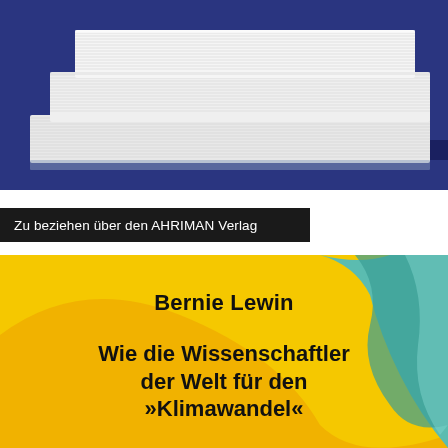[Figure (photo): Stack of white books/papers on a dark blue background]
Zu beziehen über den AHRIMAN Verlag
[Figure (illustration): Colorful book cover with yellow, orange, and teal/green wavy background. Author name Bernie Lewin and title beginning 'Wie die Wissenschaftler der Welt für den »Klimawandel«']